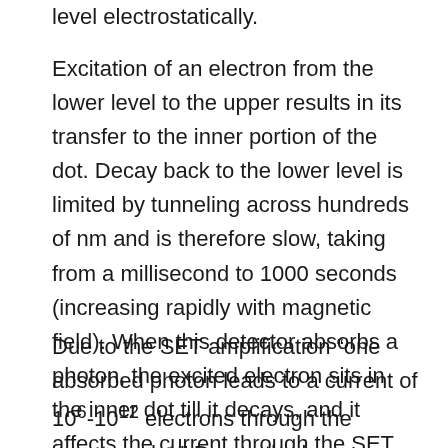level electrostatically.
Excitation of an electron from the lower level to the upper results in its transfer to the inner portion of the dot. Decay back to the lower level is limited by tunneling across hundreds of nm and is therefore slow, taking from a millisecond to 1000 seconds (increasing rapidly with magnetic field). When this detector absorbs a photon, the excited electron sits in the inner dot till it decays, and it affects the current through the SET during this whole period.
Due to the SET amplification "one absorbed photon leads to a current of 10^6-10^12 electrons through the quantum dot." Due to the low energies involved,